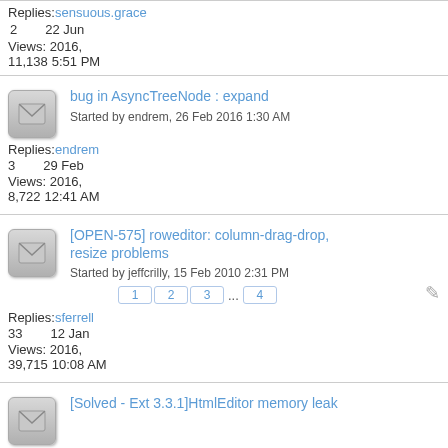Replies: sensuous.grace
2   22 Jun
Views: 2016,
11,138 5:51 PM
bug in AsyncTreeNode : expand
Started by endrem, 26 Feb 2016 1:30 AM
Replies: endrem
3   29 Feb
Views: 2016,
8,722 12:41 AM
[OPEN-575] roweditor: column-drag-drop, resize problems
Started by jeffcrilly, 15 Feb 2010 2:31 PM
Pages: 1 2 3 ... 4
Replies: sferrell
33   12 Jan
Views: 2016,
39,715 10:08 AM
[Solved - Ext 3.3.1]HtmlEditor memory leak